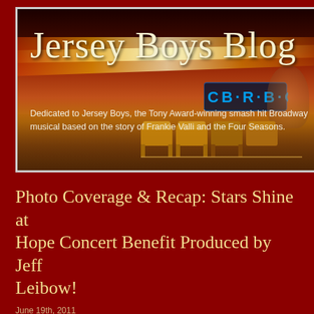[Figure (photo): Jersey Boys Blog header banner with blurred red and orange background, featuring seating area and neon signs]
Jersey Boys Blog
Dedicated to Jersey Boys, the Tony Award-winning smash hit Broadway musical based on the story of Frankie Valli and the Four Seasons.
Photo Coverage & Recap: Stars Shine at the 2011 Songs of Hope Concert Benefit Produced by Jeff Leibow!
June 19th, 2011